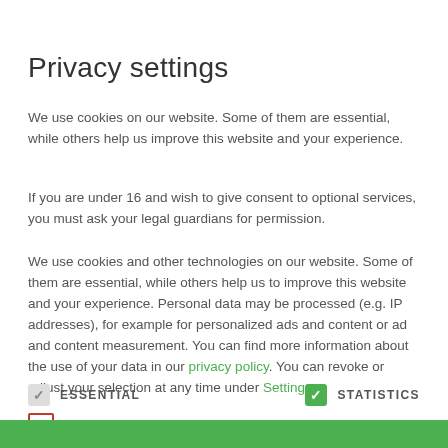Privacy settings
We use cookies on our website. Some of them are essential, while others help us improve this website and your experience.
If you are under 16 and wish to give consent to optional services, you must ask your legal guardians for permission.
We use cookies and other technologies on our website. Some of them are essential, while others help us to improve this website and your experience. Personal data may be processed (e.g. IP addresses), for example for personalized ads and content or ad and content measurement. You can find more information about the use of your data in our privacy policy. You can revoke or adjust your selection at any time under Settings
ESSENTIAL (checked, gray)
STATISTICS (checked, green)
EXTERNAL MEDIA (unchecked)